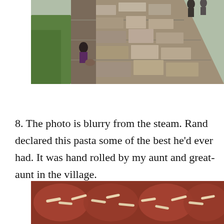[Figure (photo): Outdoor photo of stone steps or ancient stone pathway with people walking, green grass visible on the left, rocky terrain.]
8. The photo is blurry from the steam. Rand declared this pasta some of the best he'd ever had. It was hand rolled by my aunt and great-aunt in the village.
[Figure (photo): Close-up photo of pasta dish with red tomato sauce, steamy and blurry, showing hand-rolled pasta.]